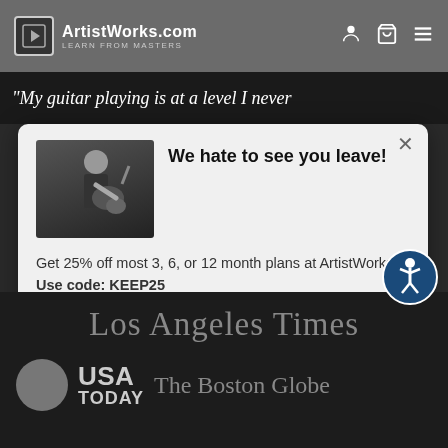ArtistWorks.com — LEARN FROM MASTERS
“My guitar playing is at a level I never
[Figure (screenshot): Exit-intent modal popup on ArtistWorks.com with a photo of a guitarist, headline 'We hate to see you leave!', offer text 'Get 25% off most 3, 6, or 12 month plans at ArtistWorks. Use code: KEEP25', and a 'Get Discount' button.]
Los Angeles Times
USA TODAY The Boston Globe